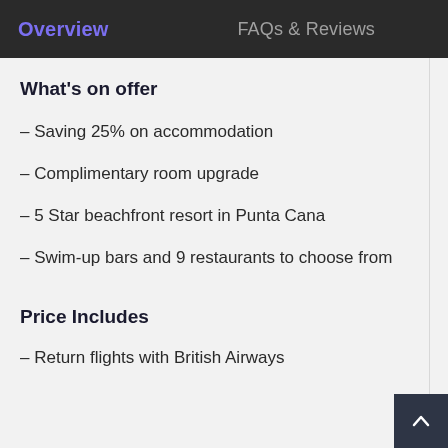Overview   FAQs & Reviews
What's on offer
– Saving 25% on accommodation
– Complimentary room upgrade
– 5 Star beachfront resort in Punta Cana
– Swim-up bars and 9 restaurants to choose from
Price Includes
– Return flights with British Airways